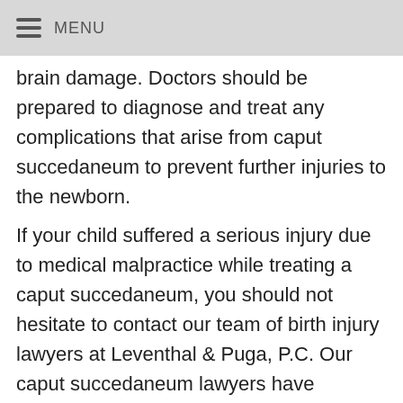MENU
brain damage. Doctors should be prepared to diagnose and treat any complications that arise from caput succedaneum to prevent further injuries to the newborn.
If your child suffered a serious injury due to medical malpractice while treating a caput succedaneum, you should not hesitate to contact our team of birth injury lawyers at Leventhal & Puga, P.C. Our caput succedaneum lawyers have extensive experience representing clients in birth injury cases throughout the United States and can advocate for full compensation on your behalf. To discuss your case in a free consultation, call us at (303) 759-9945 or toll-free at (877) 433-3906.